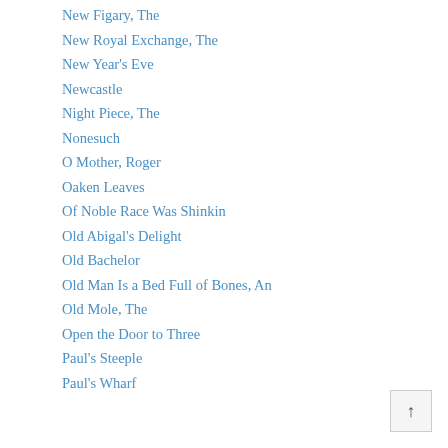New Figary, The
New Royal Exchange, The
New Year's Eve
Newcastle
Night Piece, The
Nonesuch
O Mother, Roger
Oaken Leaves
Of Noble Race Was Shinkin
Old Abigal's Delight
Old Bachelor
Old Man Is a Bed Full of Bones, An
Old Mole, The
Open the Door to Three
Paul's Steeple
Paul's Wharf